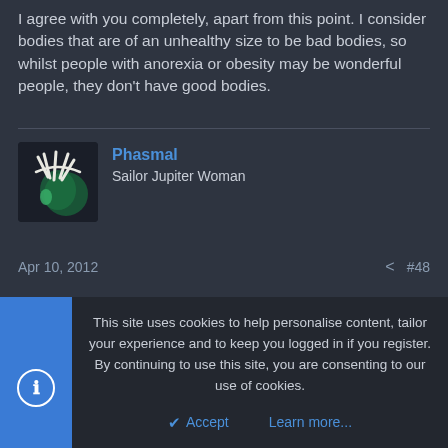I agree with you completely, apart from this point. I consider bodies that are of an unhealthy size to be bad bodies, so whilst people with anorexia or obesity may be wonderful people, they don't have good bodies.
Phasmal
Sailor Jupiter Woman
Apr 10, 2012   #48
Wow, not nearly as much bile as I thought there would be. =)
Maybe we are moving past this whole 'immature attitude towards women' thing that's been hanging around like a bad smell.

Aside from any eating disorders, I have absolutely no problem with supermodels, as I said in the other thread. (And the eating disorder thing
This site uses cookies to help personalise content, tailor your experience and to keep you logged in if you register.
By continuing to use this site, you are consenting to our use of cookies.

Accept   Learn more...